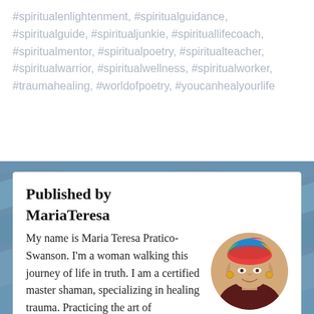#spiritualenlightenment, #spiritualguidance, #spiritualguide, #spiritualjunkie, #spirituallifecoach, #spiritualmentor, #spiritualpoetry, #spiritualteacher, #spiritualwarrior, #spiritualwellness, #spiritualworker, #traumahealing, #worldofpoetry, #youcanhealyourlife
Published by
MariaTeresa
My name is Maria Teresa Pratico-Swanson. I'm a woman walking this journey of life in truth. I am a certified master shaman, specializing in healing trauma. Practicing the art of shamanism
[Figure (photo): Circular portrait photo of Maria Teresa, a woman wearing a colorful wrapped headscarf and large hoop earrings, smiling.]